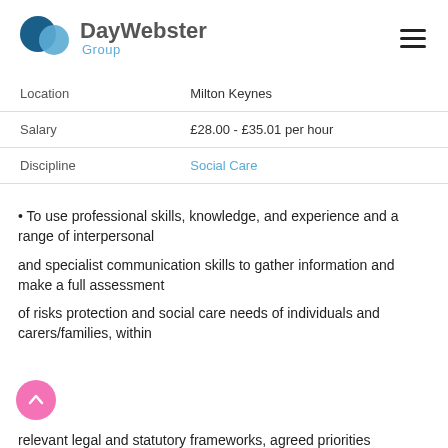[Figure (logo): DayWebster Group logo with two overlapping circles (dark blue and light blue) and text 'DayWebster Group']
| Location | Milton Keynes |
| Salary | £28.00 - £35.01 per hour |
| Discipline | Social Care |
• To use professional skills, knowledge, and experience and a range of interpersonal
and specialist communication skills to gather information and make a full assessment
of risks protection and social care needs of individuals and carers/families, within
relevant legal and statutory frameworks, agreed priorities